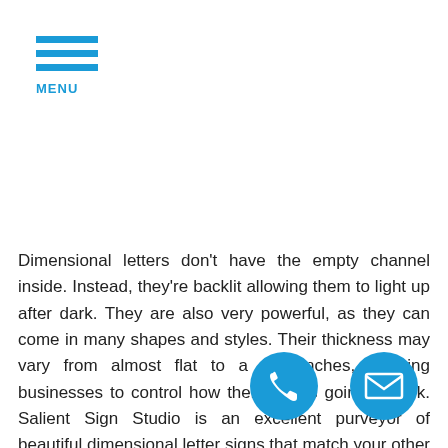MENU
Dimensional letters don't have the empty channel inside. Instead, they're backlit allowing them to light up after dark. They are also very powerful, as they can come in many shapes and styles. Their thickness may vary from almost flat to a few inches, allowing businesses to control how their sign is going to look. Salient Sign Studio is an excellent purveyor of beautiful dimensional letter signs that match your other branding elements and serve your marketing and communication purposes. These signs work best for restaurants, hotels, bars, pubs, th    , a    er entertainment facilities, but also for offices and retail